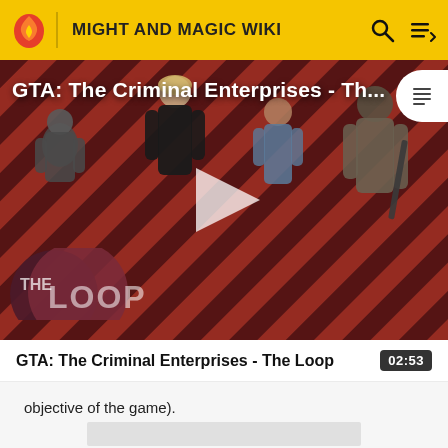MIGHT AND MAGIC WIKI
[Figure (screenshot): Video thumbnail for GTA: The Criminal Enterprises - The Loop. Shows four characters standing in front of a red diagonal stripe background. A play button is centered. 'THE LOOP' logo is in the lower left. A table of contents icon appears top right.]
GTA: The Criminal Enterprises - The Loop  02:53
objective of the game).